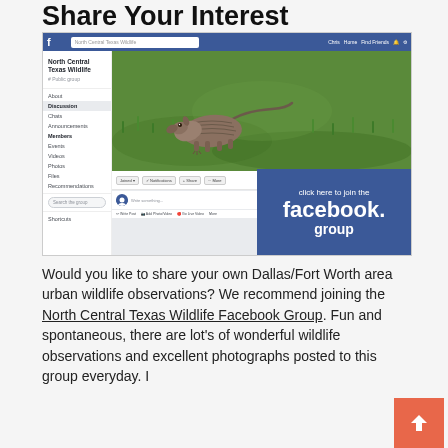Share Your Interest
[Figure (screenshot): Screenshot of North Central Texas Wildlife Facebook group page showing the group interface with sidebar navigation (About, Discussion, Chats, Announcements, Members, Events, Videos, Photos, Files, Recommendations), a cover photo of an armadillo walking on green grass, and a blue overlay button saying 'click here to join the facebook group']
Would you like to share your own Dallas/Fort Worth area urban wildlife observations? We recommend joining the North Central Texas Wildlife Facebook Group. Fun and spontaneous, there are lot's of wonderful wildlife observations and excellent photographs posted to this group everyday. I